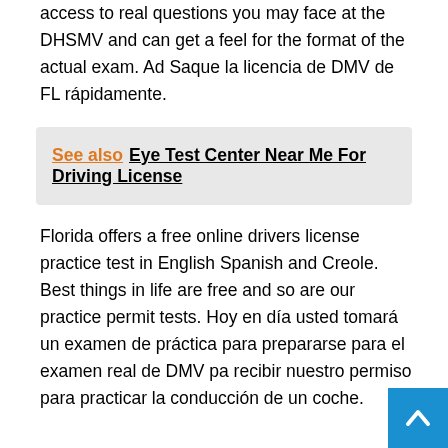access to real questions you may face at the DHSMV and can get a feel for the format of the actual exam. Ad Saque la licencia de DMV de FL rápidamente.
See also  Eye Test Center Near Me For Driving License
Florida offers a free online drivers license practice test in English Spanish and Creole. Best things in life are free and so are our practice permit tests. Hoy en día usted tomará un examen de práctica para prepararse para el examen real de DMV pa recibir nuestro permiso para practicar la conducción de un coche.